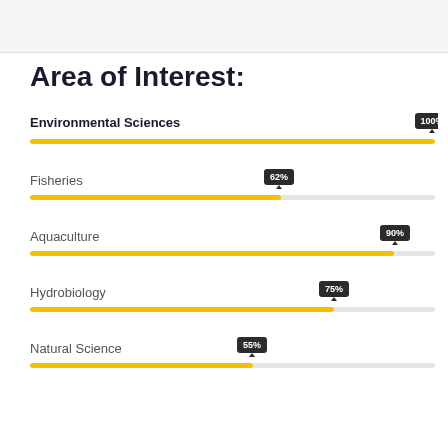Area of Interest:
[Figure (bar-chart): Area of Interest:]